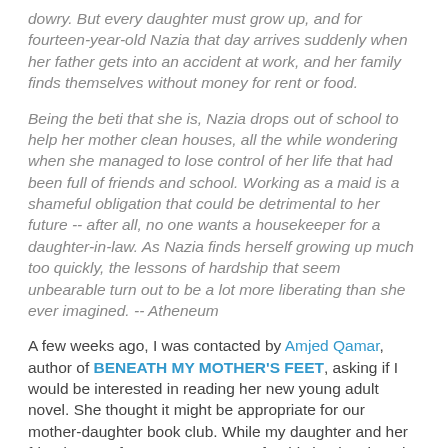dowry. But every daughter must grow up, and for fourteen-year-old Nazia that day arrives suddenly when her father gets into an accident at work, and her family finds themselves without money for rent or food.
Being the beti that she is, Nazia drops out of school to help her mother clean houses, all the while wondering when she managed to lose control of her life that had been full of friends and school. Working as a maid is a shameful obligation that could be detrimental to her future -- after all, no one wants a housekeeper for a daughter-in-law. As Nazia finds herself growing up much too quickly, the lessons of hardship that seem unbearable turn out to be a lot more liberating than she ever imagined. -- Atheneum
A few weeks ago, I was contacted by Amjed Qamar, author of BENEATH MY MOTHER'S FEET, asking if I would be interested in reading her new young adult novel. She thought it might be appropriate for our mother-daughter book club. While my daughter and her friends are a few years too young for this book, I thought the book sounded interesting. I was thrilled when Ms. Qamar agreed to send me an ARC to